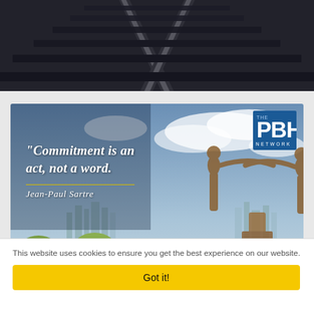[Figure (photo): Black and white photograph of railway tracks converging into the distance]
[Figure (photo): Inspirational quote image with PBH Network logo. Bronze sculpture of two figures reaching toward each other against a city skyline and cloudy sky background. Quote reads: 'Commitment is an act, not a word.' attributed to Jean-Paul Sartre]
This website uses cookies to ensure you get the best experience on our website.
Got it!